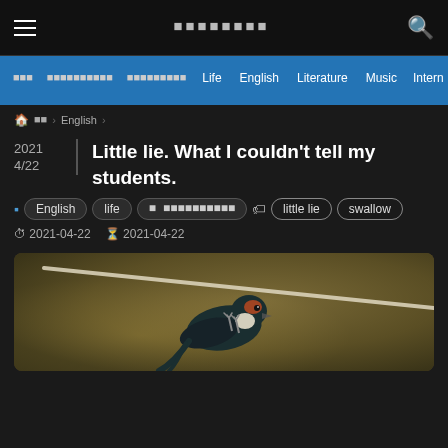■■■■■■■■
■■■  ■■■■■■■■■■  ■■■■■■■■■  Life  English  Literature  Music  Intern
🏠 ■■ › English ›
Little lie. What I couldn't tell my students.
English  life  ■ ■■■■■■■■■■■  little lie  swallow
2021-04-22  2021-04-22
[Figure (photo): A swallow bird perched on a wire or branch, close-up photograph with brown/golden background]